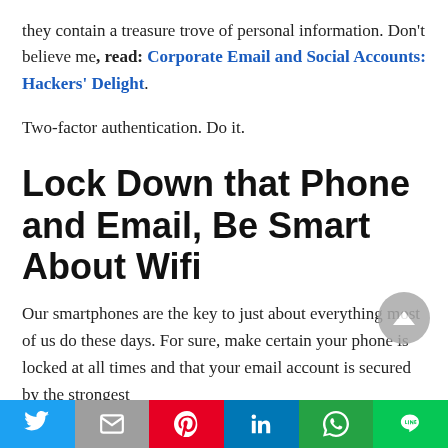they contain a treasure trove of personal information. Don't believe me, read: Corporate Email and Social Accounts: Hackers' Delight.
Two-factor authentication. Do it.
Lock Down that Phone and Email, Be Smart About Wifi
Our smartphones are the key to just about everything most of us do these days. For sure, make certain your phone is locked at all times and that your email account is secured by the strongest
[Figure (other): Share bar with Twitter, Mail, Pinterest, LinkedIn, WhatsApp, and Line buttons at the bottom of the page]